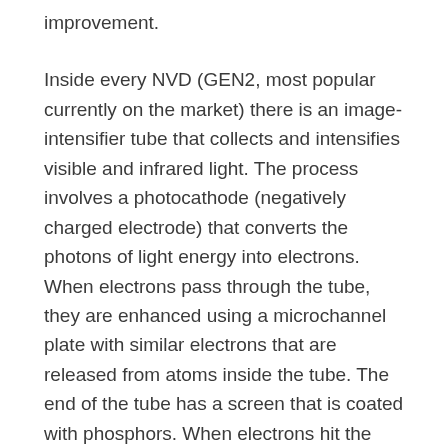improvement. Inside every NVD (GEN2, most popular currently on the market) there is an image-intensifier tube that collects and intensifies visible and infrared light. The process involves a photocathode (negatively charged electrode) that converts the photons of light energy into electrons. When electrons pass through the tube, they are enhanced using a microchannel plate with similar electrons that are released from atoms inside the tube. The end of the tube has a screen that is coated with phosphors. When electrons hit the screen, the phosphors  release photons creating the...